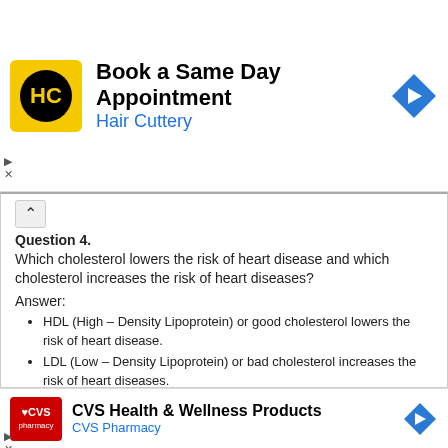[Figure (logo): Hair Cuttery advertisement banner with HC logo, title 'Book a Same Day Appointment', subtitle 'Hair Cuttery', and navigation arrow icon]
Question 4.
Which cholesterol lowers the risk of heart disease and which cholesterol increases the risk of heart diseases?
Answer:
HDL (High – Density Lipoprotein) or good cholesterol lowers the risk of heart disease.
LDL (Low – Density Lipoprotein) or bad cholesterol increases the risk of heart diseases.
Question 5.
What are the two types of tumours?
[Figure (logo): CVS Pharmacy advertisement banner with CVS logo, title 'CVS Health & Wellness Products', subtitle 'CVS Pharmacy', and navigation arrow icon]